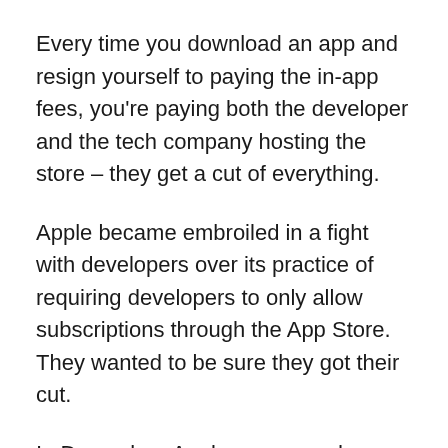Every time you download an app and resign yourself to paying the in-app fees, you're paying both the developer and the tech company hosting the store – they get a cut of everything.
Apple became embroiled in a fight with developers over its practice of requiring developers to only allow subscriptions through the App Store. They wanted to be sure they got their cut.
In December, Apple announced a change to its program. It dropped its percentage of fees for developers that make under $1 million a year, which is more than 90 percent of the developers